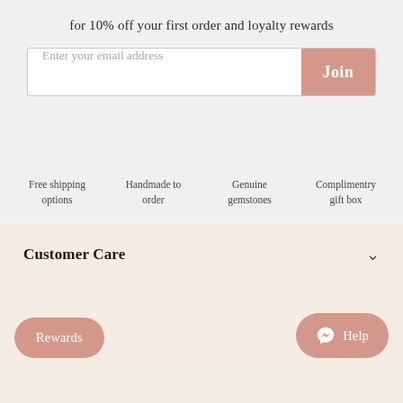for 10% off your first order and loyalty rewards
Enter your email address
Join
Free shipping options
Handmade to order
Genuine gemstones
Complimentry gift box
Customer Care
Rewards
Help